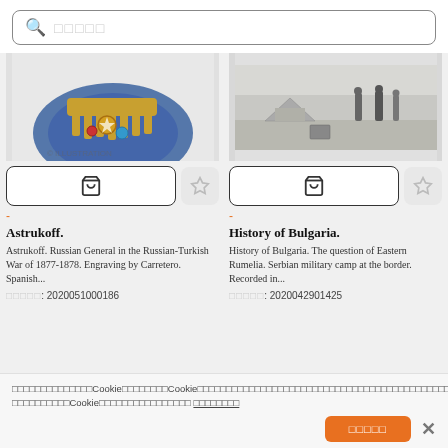□□□□□ (search placeholder)
[Figure (photo): Partial view of a military uniform or medal, blue and gold colors, engraving style]
[Figure (photo): Black and white historical photo of soldiers at a military camp or border]
Astrukoff.
Astrukoff. Russian General in the Russian-Turkish War of 1877-1878. Engraving by Carretero. Spanish...
□□□□□: 2020051000186
History of Bulgaria.
History of Bulgaria. The question of Eastern Rumelia. Serbian military camp at the border. Recorded in...
□□□□□: 2020042901425
□□□□□□□□□□□□□□Cookie□□□□□□□□Cookie□□□□□□□□□□□□□□□□□□□□□□□□□□□□□□□□□□□□□□□□□□□□□□□□□□□Cookie□□□□□□□□□□□□□□□□ □□□□□□□□